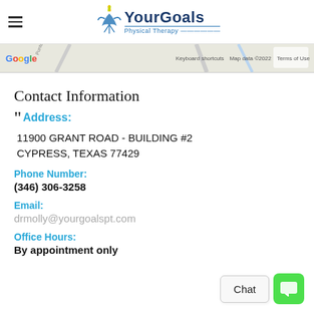Your Goals Physical Therapy
[Figure (screenshot): Google Maps partial view with Keyboard shortcuts, Map data ©2022, Terms of Use labels]
Contact Information
Address: 11900 GRANT ROAD - BUILDING #2 CYPRESS, TEXAS 77429
Phone Number: (346) 306-3258
Email: drmolly@yourgoalspt.com
Office Hours: By appointment only